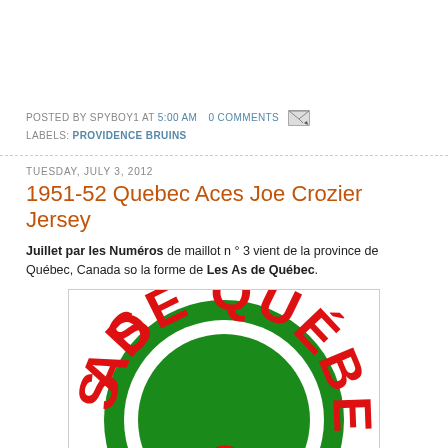POSTED BY SPYBOY1 AT 5:00 AM  0 COMMENTS
LABELS: PROVIDENCE BRUINS
TUESDAY, JULY 3, 2012
1951-52 Quebec Aces Joe Crozier Jersey
Juillet par les Numéros de maillot n ° 3 vient de la province de Québec, Canada so la forme de Les As de Québec.
[Figure (logo): Quebec Aces hockey team logo — a circular green badge with red text reading 'AS DE QUÉBEC' in large letters around the arc]